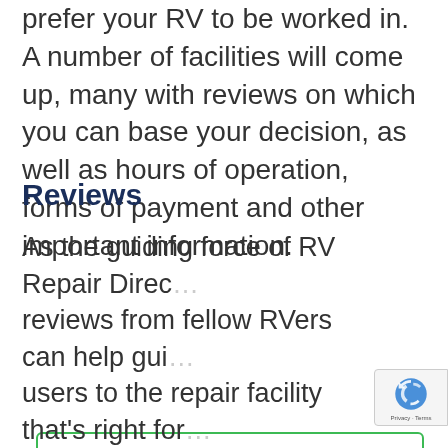prefer your RV to be worked in. A number of facilities will come up, many with reviews on which you can base your decision, as well as hours of operation, forms of payment and other important information.
Reviews
[Figure (screenshot): A review card with green border showing reviewer Roy Robinson from 6616 25th Ave. N.E, WA 98227, 5 star rating in gold, review text 'Have had my 5th wheel serviced here for the past four years. Always outstanding service plus a discount for ...', Read full review link, Posted On: 04/11/2015]
As the guiding force of RV Repair Direc… reviews from fellow RVers can help gui… users to the repair facility that's right for…